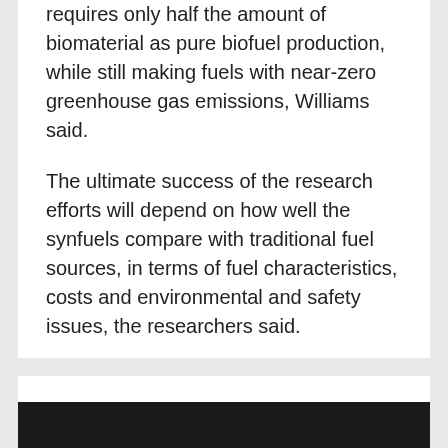requires only half the amount of biomaterial as pure biofuel production, while still making fuels with near-zero greenhouse gas emissions, Williams said.
The ultimate success of the research efforts will depend on how well the synfuels compare with traditional fuel sources, in terms of fuel characteristics, costs and environmental and safety issues, the researchers said.
“There is no doubt that developing feasible alternatives to petroleum for the aviation industry will be a long and expensive process,” Dryer said. “And success, in the form of an enduring solution, will be priceless.”
[Figure (photo): Dark/black image at the bottom of the page, partially visible]